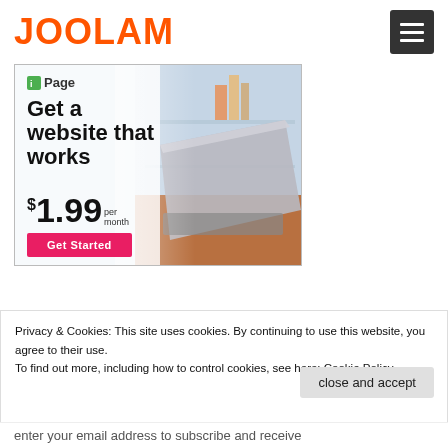JOOLAM
[Figure (screenshot): iPage advertisement banner showing a laptop on a desk with text: iPage logo, 'Get a website that works', '$1.99 per month', 'Get Started' button in pink]
Privacy & Cookies: This site uses cookies. By continuing to use this website, you agree to their use.
To find out more, including how to control cookies, see here: Cookie Policy
close and accept
enter your email address to subscribe and receive